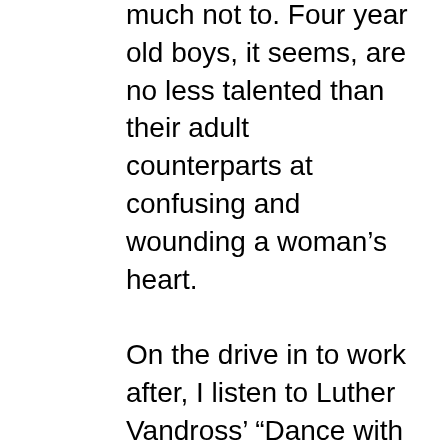much not to. Four year old boys, it seems, are no less talented than their adult counterparts at confusing and wounding a woman's heart.

On the drive in to work after, I listen to Luther Vandross' “Dance with My Father” on repeat and weep, ugly, wet sobs. It is dark outside still, and no one can see into my car. I am done by the time I get to work, have wiped all trace evidence away. No one there knows me well enough to be able to tell that is what I have been doing for the last half an hour. Perhaps no one